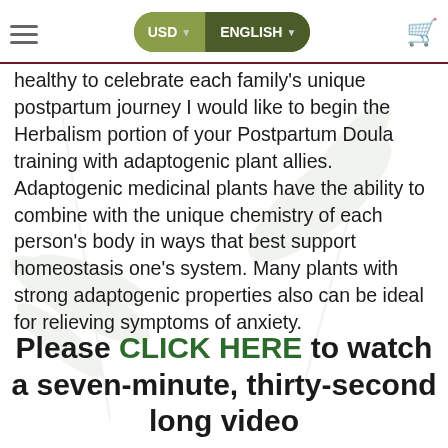USD   ENGLISH
healthy to celebrate each family's unique postpartum journey I would like to begin the Herbalism portion of your Postpartum Doula training with adaptogenic plant allies. Adaptogenic medicinal plants have the ability to combine with the unique chemistry of each person's body in ways that best support homeostasis one's system. Many plants with strong adaptogenic properties also can be ideal for relieving symptoms of anxiety.
Please CLICK HERE to watch a seven-minute, thirty-second long video